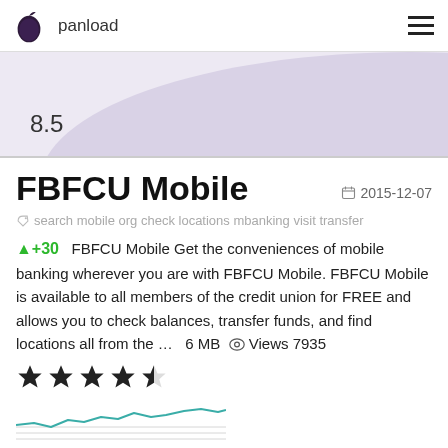panload
[Figure (other): Score gauge chart showing 8.5]
FBFCU Mobile
2015-12-07
search mobile org check locations mbanking visit transfer
+30   FBFCU Mobile Get the conveniences of mobile banking wherever you are with FBFCU Mobile. FBFCU Mobile is available to all members of the credit union for FREE and allows you to check balances, transfer funds, and find locations all from the ...   6 MB   Views 7935
[Figure (other): 4 filled stars and 1 half star rating]
[Figure (line-chart): Small teal line chart showing trend over time]